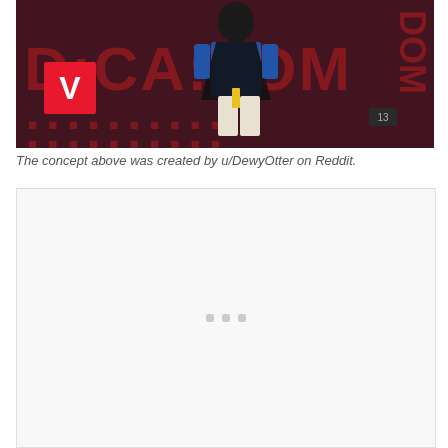[Figure (illustration): A Valorant fan-made concept art showing a character in blue and black outfit with the Valorant logo (V) in red on the left side. Dark red textured background with large red text. The character appears to be in a pose with hands on hips.]
The concept above was created by u/DewyOtter on Reddit.
[Figure (other): A large light gray/white empty box with a loading indicator (three small gray squares) in the center, representing a loading or placeholder area.]